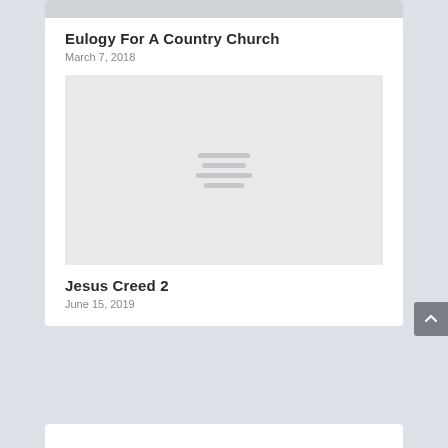[Figure (photo): Gray placeholder image strip at top of card]
Eulogy For A Country Church
March 7, 2018
[Figure (photo): Gray placeholder image with loading lines in center]
Jesus Creed 2
June 15, 2019